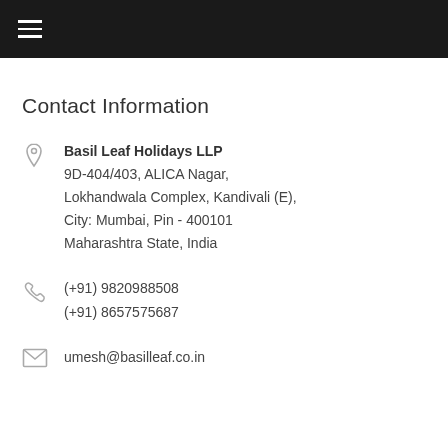Contact Information
Basil Leaf Holidays LLP
9D-404/403, ALICA Nagar,
Lokhandwala Complex, Kandivali (E),
City: Mumbai, Pin - 400101
Maharashtra State, India
(+91) 9820988508
(+91) 8657575687
umesh@basilleaf.co.in